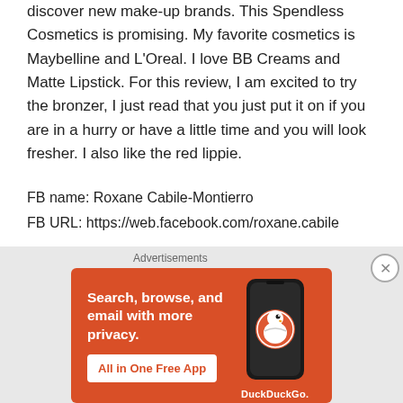discover new make-up brands. This Spendless Cosmetics is promising. My favorite cosmetics is Maybelline and L'Oreal. I love BB Creams and Matte Lipstick. For this review, I am excited to try the bronzer, I just read that you just put it on if you are in a hurry or have a little time and you will look fresher. I also like the red lippie.
FB name: Roxane Cabile-Montierro
FB URL: https://web.facebook.com/roxane.cabile
★ Liked by 1 person
[Figure (screenshot): DuckDuckGo advertisement banner with orange background. Left side shows text 'Search, browse, and email with more privacy.' with a white button 'All in One Free App'. Right side shows a phone with DuckDuckGo logo and brand name.]